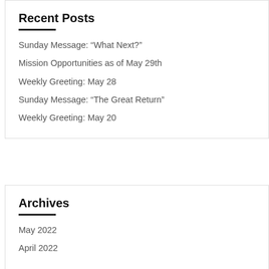Recent Posts
Sunday Message: “What Next?”
Mission Opportunities as of May 29th
Weekly Greeting: May 28
Sunday Message: “The Great Return”
Weekly Greeting: May 20
Archives
May 2022
April 2022